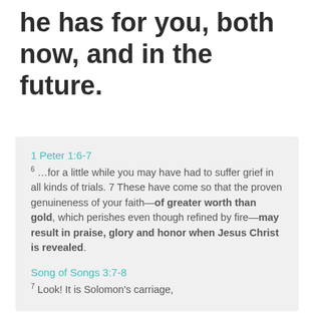he has for you, both now, and in the future.
1 Peter 1:6-7
6 ...for a little while you may have had to suffer grief in all kinds of trials. 7 These have come so that the proven genuineness of your faith—of greater worth than gold, which perishes even though refined by fire—may result in praise, glory and honor when Jesus Christ is revealed.
Song of Songs 3:7-8
7 Look! It is Solomon's carriage,